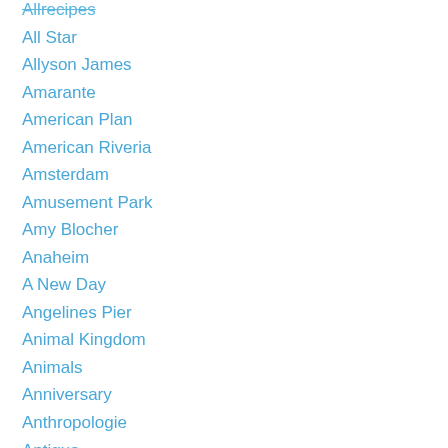Allrecipes
All Star
Allyson James
Amarante
American Plan
American Riveria
Amsterdam
Amusement Park
Amy Blocher
Anaheim
A New Day
Angelines Pier
Animal Kingdom
Animals
Anniversary
Anthropologie
Antigua
Anybody Out There
Apple
Apple Pie
Aquarium